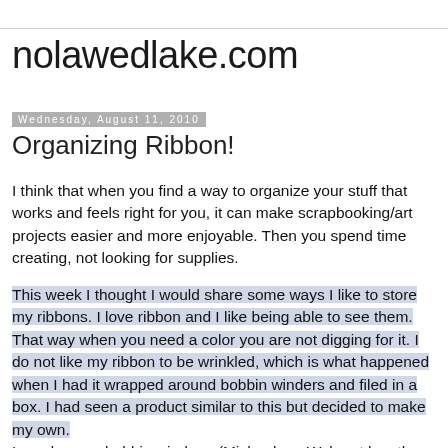nolawedlake.com
Wednesday, August 11, 2010
Organizing Ribbon!
I think that when you find a way to organize your stuff that works and feels right for you, it can make scrapbooking/art projects easier and more enjoyable. Then you spend time creating, not looking for supplies.
This week I thought I would share some ways I like to store my ribbons. I love ribbon and I like being able to see them. That way when you need a color you are not digging for it. I do not like my ribbon to be wrinkled, which is what happened when I had it wrapped around bobbin winders and filed in a box. I had seen a product similar to this but decided to make my own. I used paper bobbin winders. (Michaels or Walmart has these near embroidery thread), a slot punch, shower curtain